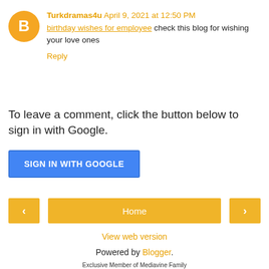Turkdramas4u  April 9, 2021 at 12:50 PM
birthday wishes for employee check this blog for wishing your love ones
Reply
To leave a comment, click the button below to sign in with Google.
SIGN IN WITH GOOGLE
< Home >
View web version
Powered by Blogger.
Exclusive Member of Mediavine Family